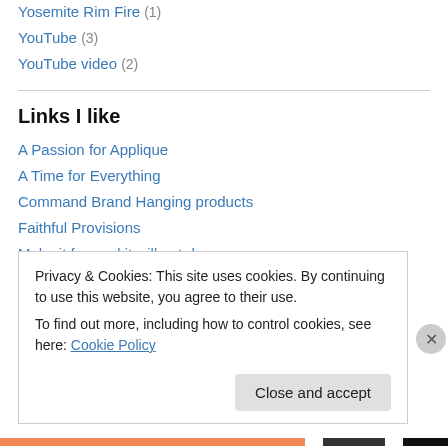Yosemite Rim Fire (1)
YouTube (3)
YouTube video (2)
Links I like
A Passion for Applique
A Time for Everything
Command Brand Hanging products
Faithful Provisions
Make it fun and it will get done
Missus Smarty Pants
Privacy & Cookies: This site uses cookies. By continuing to use this website, you agree to their use. To find out more, including how to control cookies, see here: Cookie Policy
Close and accept